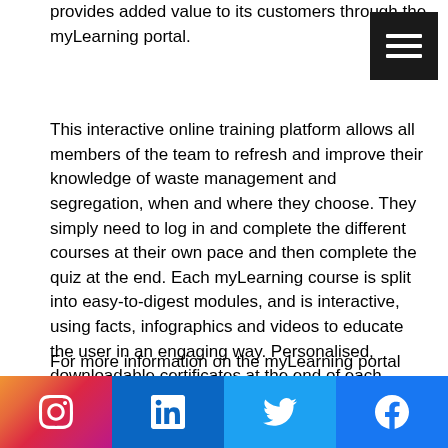provides added value to its customers through the myLearning portal.
[Figure (other): Black hamburger menu button icon with three white horizontal lines]
This interactive online training platform allows all members of the team to refresh and improve their knowledge of waste management and segregation, when and where they choose. They simply need to log in and complete the different courses at their own pace and then complete the quiz at the end. Each myLearning course is split into easy-to-digest modules, and is interactive, using facts, infographics and videos to educate the user in an engaging way. Personalised, downloadable certificates at the end of each module provide evidence of learning and assessment success.
For more information on the myLearning portal and the many other benefits available to Initial Medical customers, contact
[Figure (other): Social media footer bar with Instagram, LinkedIn, Twitter, and Facebook icons]